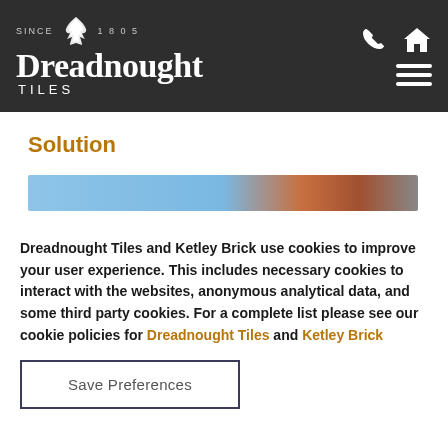Dreadnought Tiles - Since 1805
Solution
[Figure (photo): Partial view of a rooftop with terracotta tiles against a blue sky background, partially obscured by the cookie consent overlay.]
Dreadnought Tiles and Ketley Brick use cookies to improve your user experience.  This includes necessary cookies to interact with the websites, anonymous analytical data, and some third party cookies. For a complete list please see our cookie policies for Dreadnought Tiles and Ketley Brick
Save Preferences